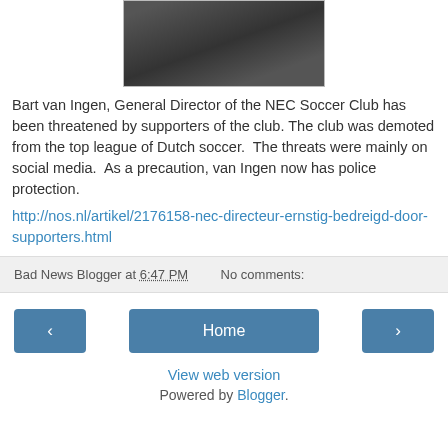[Figure (photo): Partial photo of a person, dark background, top portion of image visible]
Bart van Ingen, General Director of the NEC Soccer Club has been threatened by supporters of the club. The club was demoted from the top league of Dutch soccer. The threats were mainly on social media. As a precaution, van Ingen now has police protection.
http://nos.nl/artikel/2176158-nec-directeur-ernstig-bedreigd-door-supporters.html
Bad News Blogger at 6:47 PM   No comments:
[Figure (other): Navigation buttons: left arrow, Home, right arrow]
View web version
Powered by Blogger.